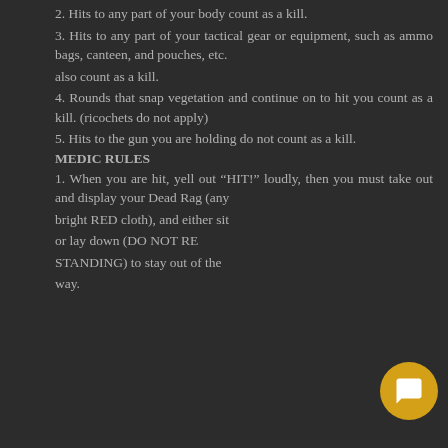2. Hits to any part of your body count as a kill.
3. Hits to any part of your tactical gear or equipment, such as ammo bags, canteen, and pouches, etc. also count as a kill.
4. Rounds that snap vegetation and continue on to hit you count as a kill. (ricochets do not apply)
5. Hits to the gun you are holding do not count as a kill.
MEDIC RULES
1. When you are hit, yell out “HIT!” loudly, then you must take out and display your Dead Rag (any bright RED cloth), and either sit or lay down (DO NOT REMAIN STANDING) to stay out of the way.